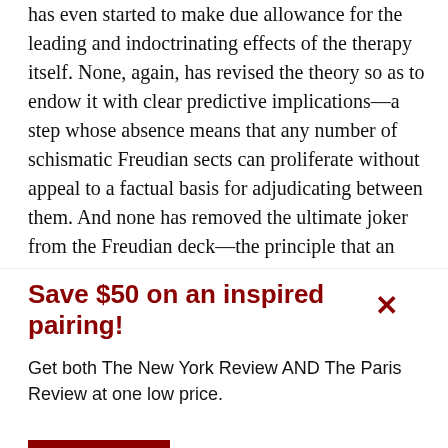has even started to make due allowance for the leading and indoctrinating effects of the therapy itself. None, again, has revised the theory so as to endow it with clear predictive implications—a step whose absence means that any number of schismatic Freudian sects can proliferate without appeal to a factual basis for adjudicating between them. And none has removed the ultimate joker from the Freudian deck—the principle that an
Save $50 on an inspired pairing!
Get both The New York Review AND The Paris Review at one low price.
See offer
Already a subscriber?  Sign in